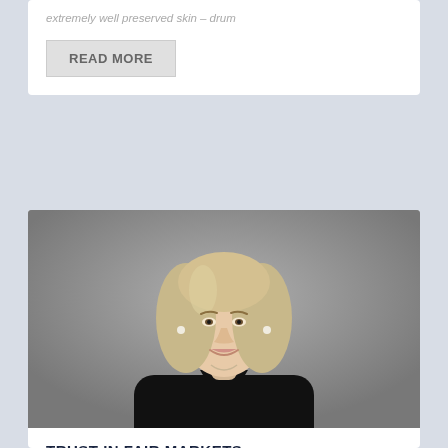extremely well preserved skin – drum
READ MORE
[Figure (photo): Professional headshot of Jenn Fields, a woman with shoulder-length blonde hair wearing a black top against a gray background, smiling at camera]
TRUST IN FAIR MARKETS
by Jenn Fields
Trust in fair markets It's not every day that antitrust